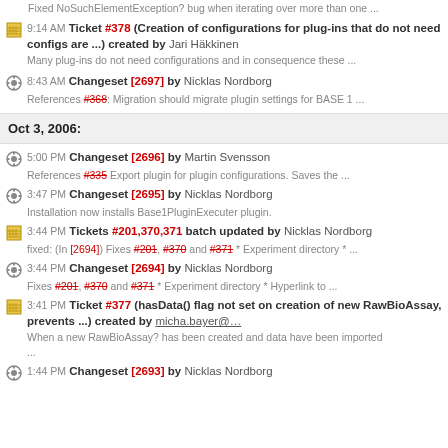Fixed NoSuchElementException? bug when iterating over more than one ...
9:14 AM Ticket #378 (Creation of configurations for plug-ins that do not need configs are ...) created by Jari Häkkinen
Many plug-ins do not need configurations and in consequence these ...
8:43 AM Changeset [2697] by Nicklas Nordborg
References #368: Migration should migrate plugin settings for BASE 1 ...
Oct 3, 2006:
5:00 PM Changeset [2696] by Martin Svensson
References #335 Export plugin for plugin configurations. Saves the ...
3:47 PM Changeset [2695] by Nicklas Nordborg
Installation now installs Base1PluginExecuter plugin.
3:44 PM Tickets #201,370,371 batch updated by Nicklas Nordborg
fixed: (In [2694]) Fixes #201, #370 and #371 * Experiment directory * ...
3:44 PM Changeset [2694] by Nicklas Nordborg
Fixes #201, #370 and #371 * Experiment directory * Hyperlink to ...
3:41 PM Ticket #377 (hasData() flag not set on creation of new RawBioAssay, prevents ...) created by micha.bayer@...
When a new RawBioAssay? has been created and data have been imported ...
1:44 PM Changeset [2693] by Nicklas Nordborg